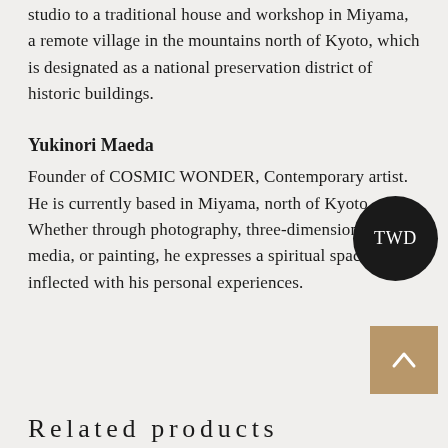studio to a traditional house and workshop in Miyama, a remote village in the mountains north of Kyoto, which is designated as a national preservation district of historic buildings.
[Figure (logo): Dark circular badge with white text 'TWD']
Yukinori Maeda
Founder of COSMIC WONDER, Contemporary artist. He is currently based in Miyama, north of Kyoto. Whether through photography, three-dimensional media, or painting, he expresses a spiritual space inflected with his personal experiences.
[Figure (other): Tan/gold square back-to-top button with upward chevron arrow]
Related products